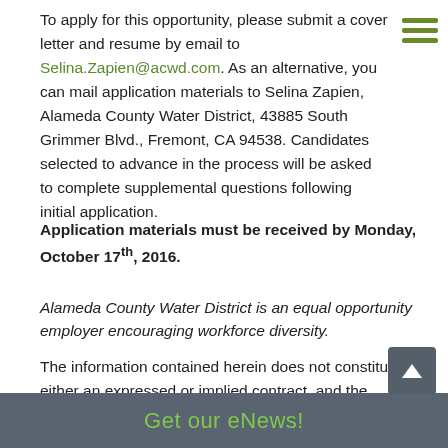To apply for this opportunity, please submit a cover letter and resume by email to Selina.Zapien@acwd.com. As an alternative, you can mail application materials to Selina Zapien, Alameda County Water District, 43885 South Grimmer Blvd., Fremont, CA 94538. Candidates selected to advance in the process will be asked to complete supplemental questions following initial application.
Application materials must be received by Monday, October 17th, 2016.
Alameda County Water District is an equal opportunity employer encouraging workforce diversity.
The information contained herein does not constitute either an expressed or implied contract, and the provisions are subject to change.
Get our eNews!